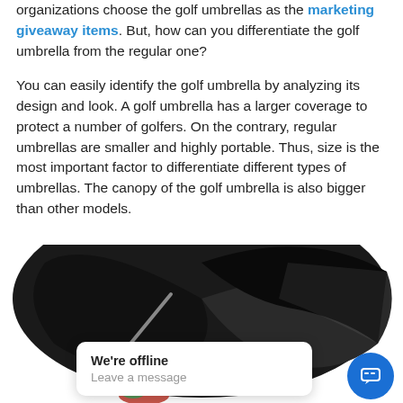organizations choose the golf umbrellas as the marketing giveaway items. But, how can you differentiate the golf umbrella from the regular one?
You can easily identify the golf umbrella by analyzing its design and look. A golf umbrella has a larger coverage to protect a number of golfers. On the contrary, regular umbrellas are smaller and highly portable. Thus, size is the most important factor to differentiate different types of umbrellas. The canopy of the golf umbrella is also bigger than other models.
[Figure (photo): A large black golf umbrella open, viewed from below/side angle, with a colorful logo partially visible at the bottom edge. A chat popup overlay shows 'We're offline / Leave a message' with a blue chat button.]